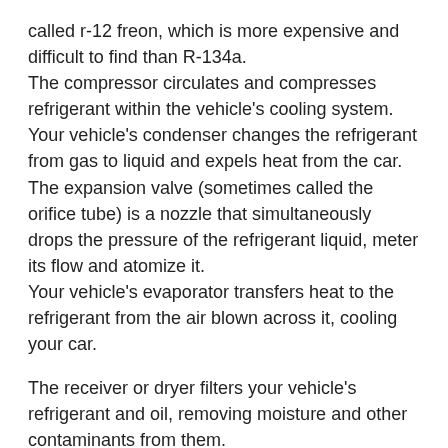called r-12 freon, which is more expensive and difficult to find than R-134a. The compressor circulates and compresses refrigerant within the vehicle's cooling system. Your vehicle's condenser changes the refrigerant from gas to liquid and expels heat from the car. The expansion valve (sometimes called the orifice tube) is a nozzle that simultaneously drops the pressure of the refrigerant liquid, meter its flow and atomize it. Your vehicle's evaporator transfers heat to the refrigerant from the air blown across it, cooling your car.
The receiver or dryer filters your vehicle's refrigerant and oil, removing moisture and other contaminants from them.
When you start your vehicle's air conditioning system, the compressor works by putting the refrigerant under pressure, sending it to the condensing coils, which are